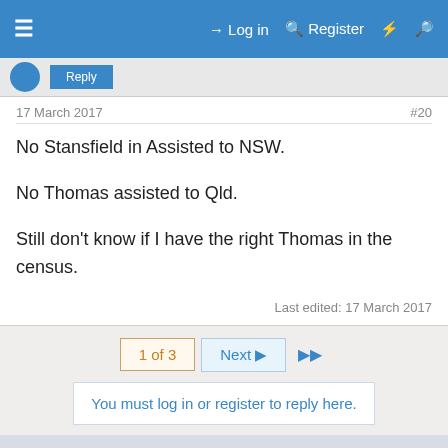Log in  Register
17 March 2017
#20
No Stansfield in Assisted to NSW.

No Thomas assisted to Qld.

Still don't know if I have the right Thomas in the census.
Last edited: 17 March 2017
1 of 3  Next ▶  ▶▶
You must log in or register to reply here.
This site uses cookies to help personalise content, tailor your experience and to keep you logged in if you register.
By continuing to use this site, you are consenting to our use of cookies.